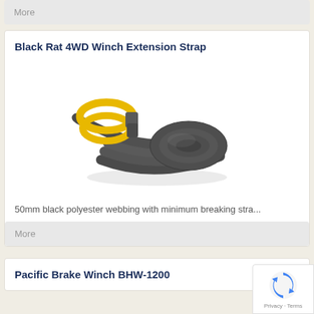More
Black Rat 4WD Winch Extension Strap
[Figure (photo): A dark grey winch extension strap coiled up with yellow loop ends on both sides]
50mm black polyester webbing with minimum breaking stra...
More
Pacific Brake Winch BHW-1200